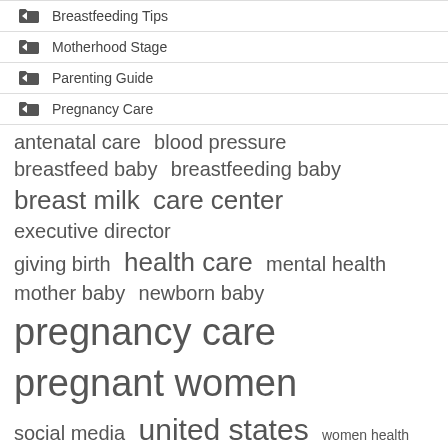Breastfeeding Tips
Motherhood Stage
Parenting Guide
Pregnancy Care
antenatal care  blood pressure  breastfeed baby  breastfeeding baby  breast milk  care center  executive director  giving birth  health care  mental health  mother baby  newborn baby  pregnancy care  pregnant women  social media  united states  women health